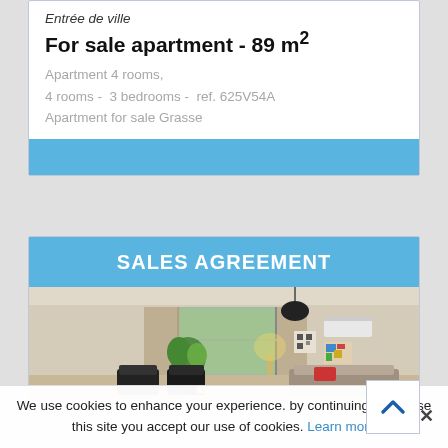Entrée de ville
For sale apartment - 89 m²
Apartment 4 rooms,
4 rooms -  3 bedrooms -  ref. 625V54A
Apartment for sale Grasse
SALES AGREEMENT
[Figure (photo): Interior photo of a living room with sofas, armchairs, pendant lamp, sliding glass door to garden, air conditioning unit, and artwork on walls]
We use cookies to enhance your experience. by continuing to browse this site you accept our use of cookies. Learn more